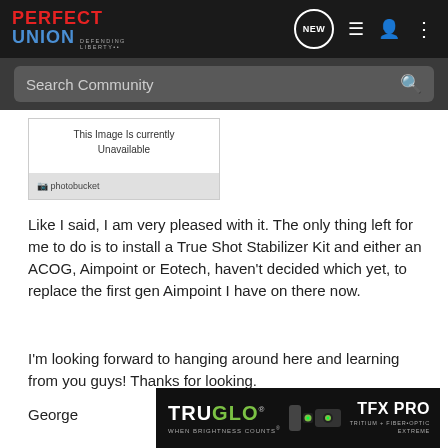Perfect Union — Defending Liberty | Navigation icons: NEW, list, user, menu
Search Community
[Figure (screenshot): Photobucket unavailable image placeholder with text 'This Image Is currently Unavailable' and Photobucket logo at bottom]
Like I said, I am very pleased with it. The only thing left for me to do is to install a True Shot Stabilizer Kit and either an ACOG, Aimpoint or Eotech, haven't decided which yet, to replace the first gen Aimpoint I have on there now.
I'm looking forward to hanging around here and learning from you guys! Thanks for looking.
George
[Figure (screenshot): TruGlo TFX Pro advertisement banner with brand name, tagline 'When Brightness Counts', TFX PRO text, and sight image]